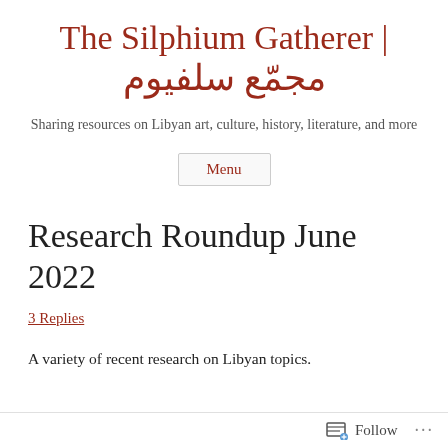The Silphium Gatherer | مجمّع سلفيوم
Sharing resources on Libyan art, culture, history, literature, and more
Menu
Research Roundup June 2022
3 Replies
A variety of recent research on Libyan topics.
Follow ...